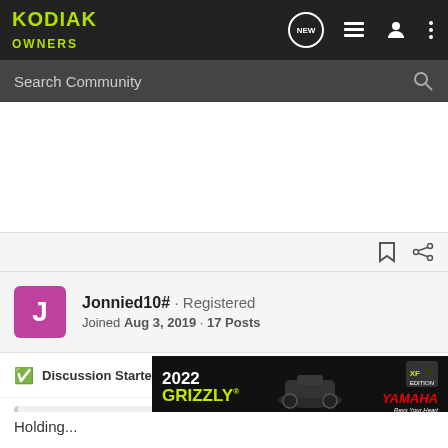KODIAK OWNERS
Search Community
Jonnied10# · Registered
Joined Aug 3, 2019 · 17 Posts
Discussion Starter · #11 · Oct 2, 2019
outbackandy said: ↑
Now all you have to do is put a set of the lighter 18 gr Grizzly clutch weights
[Figure (photo): 2022 Grizzly Yamaha advertisement banner with ATV photo]
Holding...